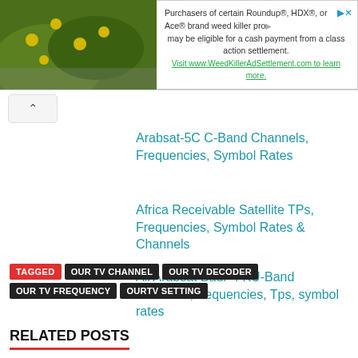[Figure (screenshot): Advertisement banner with plant image and text about Roundup class action settlement]
Arabsat-5C C-Band Channels, Frequencies, Symbol Rates
Africa Receivable Satellite TPs, Frequencies, Symbol Rates & Channels
All Arabsat Badr-4 KU-Band Channels, frequencies, Tps, symbol rates
TAGGED OUR TV CHANNEL OUR TV DECODER OUR TV FREQUENCY OURTV SETTING
RELATED POSTS